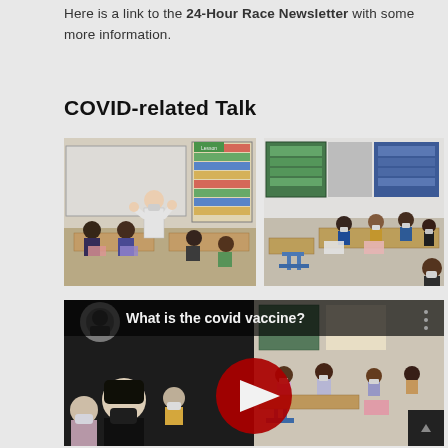Here is a link to the 24-Hour Race Newsletter with some more information.
COVID-related Talk
[Figure (photo): A person in a white lab coat wearing a mask, presenting to masked children seated at desks in a classroom. A whiteboard and colorful wall charts are visible in the background.]
[Figure (photo): Masked children seated at desks in a classroom, viewed from the back, with green bulletin boards on the wall in the background.]
[Figure (screenshot): A video thumbnail showing masked children seated in a classroom with a YouTube play button overlay. Text reads 'What is the covid vaccine?' in white on a dark background at the top. A person in a black mask sits in the foreground.]